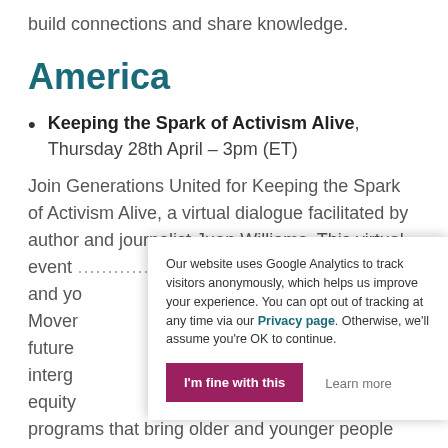build connections and share knowledge.
America
Keeping the Spark of Activism Alive, Thursday 28th April – 3pm (ET)
Join Generations United for Keeping the Spark of Activism Alive, a virtual dialogue facilitated by author and journalist Juan Williams. This virtual event … and yo… Mover… future… interg… equity… programs that bring older and younger people together…
Our website uses Google Analytics to track visitors anonymously, which helps us improve your experience. You can opt out of tracking at any time via our Privacy page. Otherwise, we'll assume you're OK to continue.
I'm fine with this
Learn more